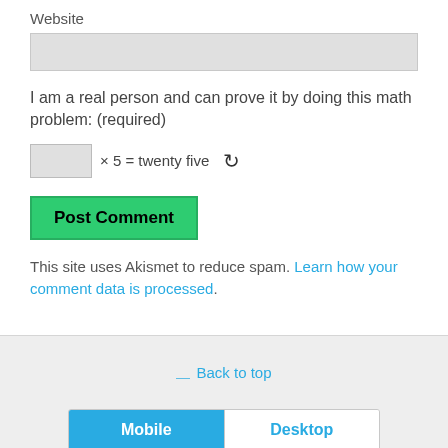Website
I am a real person and can prove it by doing this math problem: (required)
× 5 = twenty five
Post Comment
This site uses Akismet to reduce spam. Learn how your comment data is processed.
⇪ Back to top
Mobile | Desktop